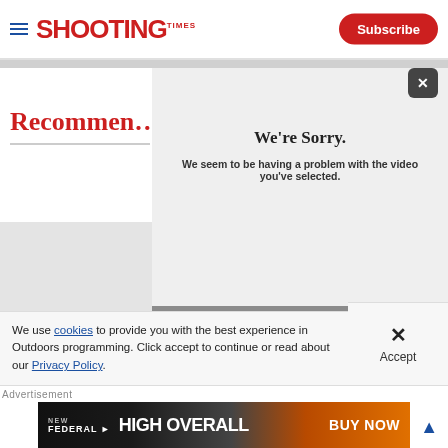SHOOTING TIMES — Subscribe
Recommen…
[Figure (screenshot): Video error overlay panel with dark close button, showing 'We're Sorry. We seem to be having a problem with the video you've selected.' and ERROR CODE text at bottom]
We're Sorry.
We seem to be having a problem with the video you've selected.
We use cookies to provide you with the best experience in Outdoors programming. Click accept to continue or read about our Privacy Policy.
Advertisement
[Figure (photo): Federal High Overall ammunition advertisement banner with 'NEW FEDERAL HIGH OVERALL BUY NOW' text on dark background with fire/ammo imagery]